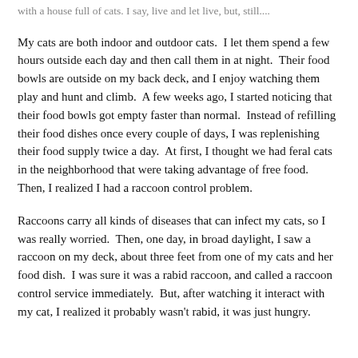...with a house full of cats.  I say, live and let live, but, still....
My cats are both indoor and outdoor cats.  I let them spend a few hours outside each day and then call them in at night.  Their food bowls are outside on my back deck, and I enjoy watching them play and hunt and climb.  A few weeks ago, I started noticing that their food bowls got empty faster than normal.  Instead of refilling their food dishes once every couple of days, I was replenishing their food supply twice a day.  At first, I thought we had feral cats in the neighborhood that were taking advantage of free food.  Then, I realized I had a raccoon control problem.
Raccoons carry all kinds of diseases that can infect my cats, so I was really worried.  Then, one day, in broad daylight, I saw a raccoon on my deck, about three feet from one of my cats and her food dish.  I was sure it was a rabid raccoon, and called a raccoon control service immediately.  But, after watching it interact with my cat, I realized it probably wasn't rabid, it was just hungry.